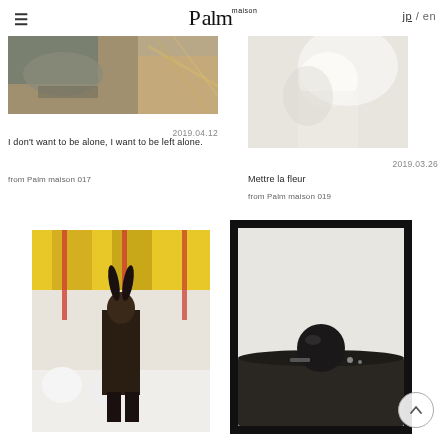Palm maison
[Figure (photo): Top left photo: person lying on textile/straw background in muted tones]
[Figure (photo): Top right photo: person in white clothing, soft light background]
2019.04.12
2019.03.26
I don't want to be alone, I want to be left alone.
Mettre la fleur
from Palm maison 017
from Palm maison 019
[Figure (photo): Bottom left photo: girl with bunny ears at carousel, yellow canopy, winter]
[Figure (photo): Bottom right photo: black globe/ball on dark table, white wall background, Polaroid style frame]